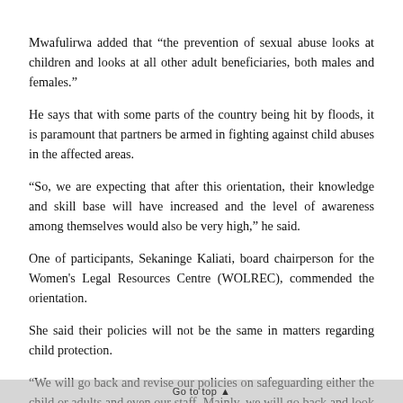Mwafulirwa added that “the prevention of sexual abuse looks at children and looks at all other adult beneficiaries, both males and females.”
He says that with some parts of the country being hit by floods, it is paramount that partners be armed in fighting against child abuses in the affected areas.
“So, we are expecting that after this orientation, their knowledge and skill base will have increased and the level of awareness among themselves would also be very high,” he said.
One of participants, Sekaninge Kaliati, board chairperson for the Women's Legal Resources Centre (WOLREC), commended the orientation.
She said their policies will not be the same in matters regarding child protection.
“We will go back and revise our policies on safeguarding either the child or adults and even our staff. Mainly, we will go back and look at our policies so that we do not have policy